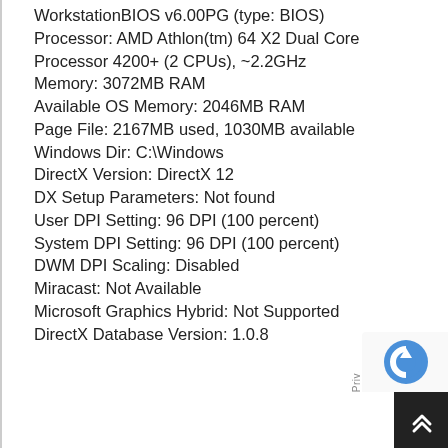WorkstationBIOS v6.00PG (type: BIOS)
Processor: AMD Athlon(tm) 64 X2 Dual Core Processor 4200+ (2 CPUs), ~2.2GHz
Memory: 3072MB RAM
Available OS Memory: 2046MB RAM
Page File: 2167MB used, 1030MB available
Windows Dir: C:\Windows
DirectX Version: DirectX 12
DX Setup Parameters: Not found
User DPI Setting: 96 DPI (100 percent)
System DPI Setting: 96 DPI (100 percent)
DWM DPI Scaling: Disabled
Miracast: Not Available
Microsoft Graphics Hybrid: Not Supported
DirectX Database Version: 1.0.8